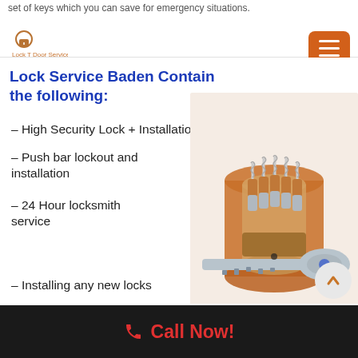set of keys which you can save for emergency situations.
Lock Service Baden Contain the following:
– High Security Lock + Installation
– Push bar lockout and installation
– 24 Hour locksmith service
– Installing any new locks
[Figure (photo): A cross-section illustration of a high-security lock cylinder with a key inserted, showing internal pins and springs, copper-colored housing on a light beige background.]
Call Now!